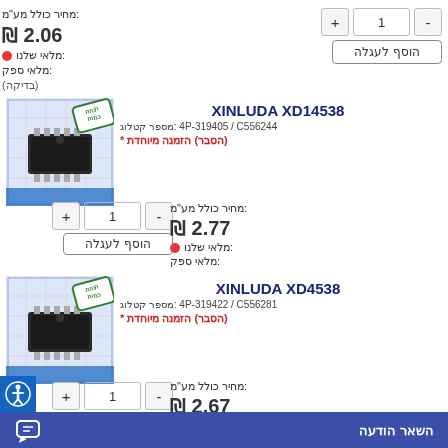מחיר כולל מע"מ:
₪ 2.06
מלאי שלנו:
מלאי ספק: (בדיקה)
XINLUDA XD14538
מספר קטלוג: C556244 / 4P-319405
* הזמנה מיוחדת (הסבר)
מחיר כולל מע"מ:
₪ 2.77
מלאי שלנו:
מלאי ספק: (בדיקה)
XINLUDA XD4538
מספר קטלוג: C556281 / 4P-319422
* הזמנה מיוחדת (הסבר)
מחיר כולל מע"מ:
₪ 2.67
השאר הודעה